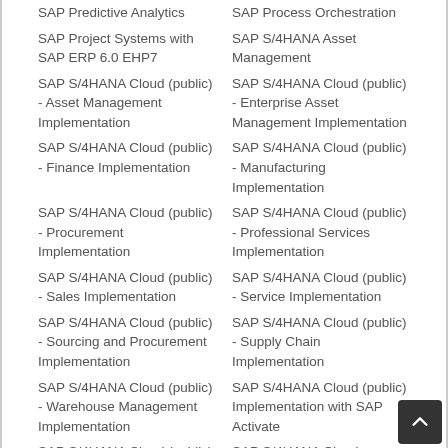SAP Predictive Analytics
SAP Process Orchestration
SAP Project Systems with SAP ERP 6.0 EHP7
SAP S/4HANA Asset Management
SAP S/4HANA Cloud (public) - Asset Management Implementation
SAP S/4HANA Cloud (public) - Enterprise Asset Management Implementation
SAP S/4HANA Cloud (public) - Finance Implementation
SAP S/4HANA Cloud (public) - Manufacturing Implementation
SAP S/4HANA Cloud (public) - Procurement Implementation
SAP S/4HANA Cloud (public) - Professional Services Implementation
SAP S/4HANA Cloud (public) - Sales Implementation
SAP S/4HANA Cloud (public) - Service Implementation
SAP S/4HANA Cloud (public) - Sourcing and Procurement Implementation
SAP S/4HANA Cloud (public) - Supply Chain Implementation
SAP S/4HANA Cloud (public) - Warehouse Management Implementation
SAP S/4HANA Cloud (public) Implementation with SAP Activate
SAP S/4HANA Cloud (public) – Sourcing and Procurement
SAP S/4HANA Cloud, essentials edition